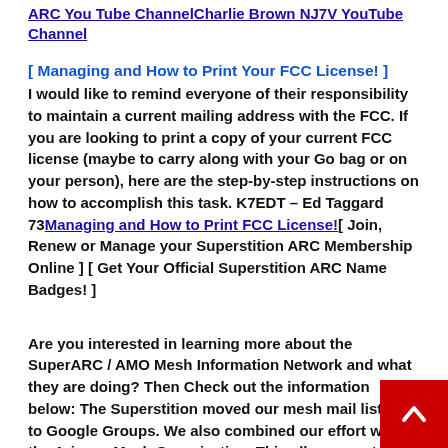ARC You Tube ChannelCharlie Brown NJ7V YouTube Channel
[ Managing and How to Print Your FCC License! ]
I would like to remind everyone of their responsibility to maintain a current mailing address with the FCC. If you are looking to print a copy of your current FCC license (maybe to carry along with your Go bag or on your person), here are the step-by-step instructions on how to accomplish this task. K7EDT – Ed Taggard 73Managing and How to Print FCC License![ Join, Renew or Manage your Superstition ARC Membership Online ] [ Get Your Official Superstition ARC Name Badges! ]
Are you interested in learning more about the SuperARC / AMO Mesh Information Network and what they are doing? Then Check out the information below: The Superstition moved our mesh mail list over to Google Groups. We also combined our effort with the Arizona Mesh Organization. This allows you to control how you receive your email. Not a